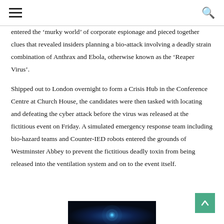≡ [hamburger menu] | [search icon]
entered the ‘murky world’ of corporate espionage and pieced together clues that revealed insiders planning a bio-attack involving a deadly strain combination of Anthrax and Ebola, otherwise known as the ‘Reaper Virus’.
Shipped out to London overnight to form a Crisis Hub in the Conference Centre at Church House, the candidates were then tasked with locating and defeating the cyber attack before the virus was released at the fictitious event on Friday. A simulated emergency response team including bio-hazard teams and Counter-IED robots entered the grounds of Westminster Abbey to prevent the fictitious deadly toxin from being released into the ventilation system and on to the event itself.
[Figure (photo): Dark photograph with a bright blue glowing light point against a very dark navy/black background, partially visible at the bottom of the page.]